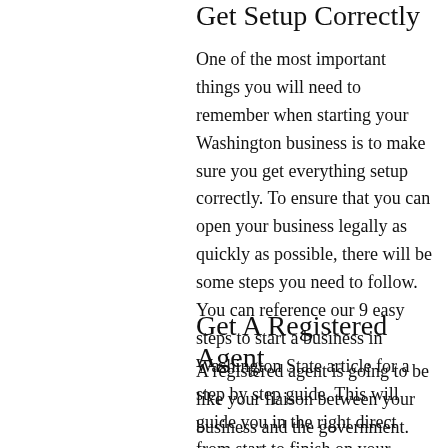Get Setup Correctly
One of the most important things you will need to remember when starting your Washington business is to make sure you get everything setup correctly. To ensure that you can open your business legally as quickly as possible, there will be some steps you need to follow. You can reference our 9 easy steps to start a business in Washington State article for a step by step guide. This will guide you in the right direct from start to finish on your business setup.
Get A Registered Agent
A registered agent is going to be like your liaison between your business and the government. You are legally required to have a registered agent for your business in